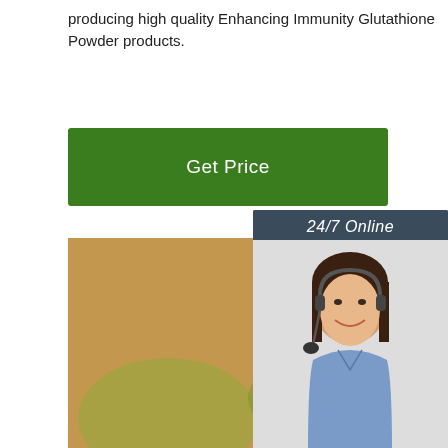producing high quality Enhancing Immunity Glutathione Powder products.
Get Price
[Figure (photo): Close-up photo of rosemary plants with small white flowers in a green field, blurred background of trees]
[Figure (photo): Customer service chat widget showing a woman with a headset, text '24/7 Online', 'Click here for free chat!', and a QUOTATION button]